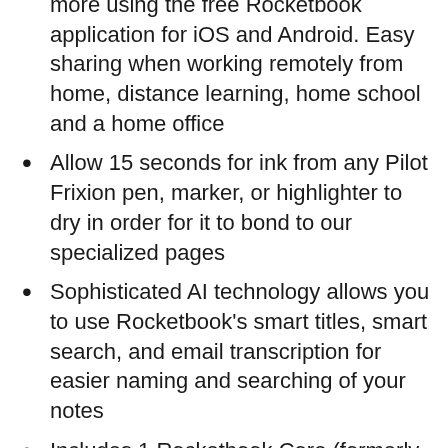more using the free Rocketbook application for iOS and Android. Easy sharing when working remotely from home, distance learning, home school and a home office
Allow 15 seconds for ink from any Pilot Frixion pen, marker, or highlighter to dry in order for it to bond to our specialized pages
Sophisticated AI technology allows you to use Rocketbook’s smart titles, smart search, and email transcription for easier naming and searching of your notes
Includes 1 Rocketbook Core (formerly known as Everlast) Letter Size (8.5″ x 11″) Notebook, 1 Pilot Frixion Pen, and 1 Microfiber Cloth. Note package may